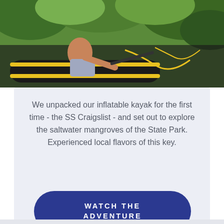[Figure (photo): A person with inflatable kayak outdoors near water and green foliage, yellow accents visible on the kayak.]
We unpacked our inflatable kayak for the first time - the SS Craigslist - and set out to explore the saltwater mangroves of the State Park. Experienced local flavors of this key.
WATCH THE ADVENTURE